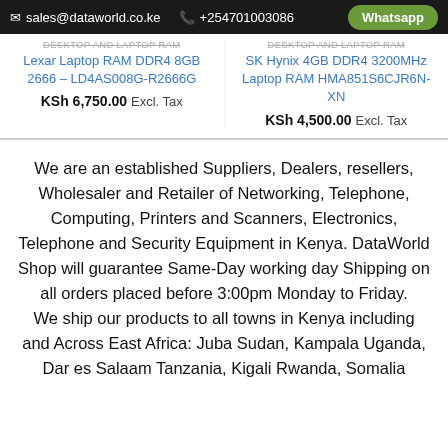sales@dataworld.co.ke  +254701003086  Whatsapp
DESKTOP AND LAPTOP RAM
Lexar Laptop RAM DDR4 8GB 2666 – LD4AS008G-R2666G
KSh 6,750.00 Excl. Tax
DESKTOP AND LAPTOP RAM
SK Hynix 4GB DDR4 3200MHz Laptop RAM HMA851S6CJR6N-XN
KSh 4,500.00 Excl. Tax
We are an established Suppliers, Dealers, resellers, Wholesaler and Retailer of Networking, Telephone, Computing, Printers and Scanners, Electronics, Telephone and Security Equipment in Kenya. DataWorld Shop will guarantee Same-Day working day Shipping on all orders placed before 3:00pm Monday to Friday.
We ship our products to all towns in Kenya including and Across East Africa: Juba Sudan, Kampala Uganda, Dar es Salaam Tanzania, Kigali Rwanda, Somalia